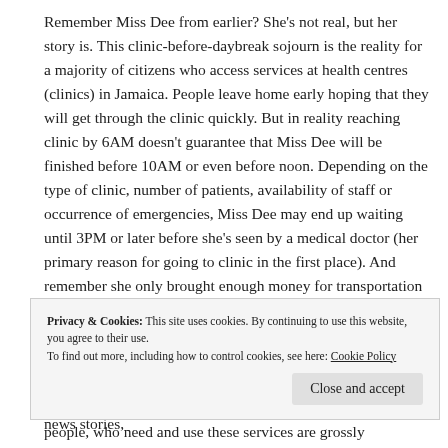Remember Miss Dee from earlier? She's not real, but her story is. This clinic-before-daybreak sojourn is the reality for a majority of citizens who access services at health centres (clinics) in Jamaica. People leave home early hoping that they will get through the clinic quickly. But in reality reaching clinic by 6AM doesn't guarantee that Miss Dee will be finished before 10AM or even before noon. Depending on the type of clinic, number of patients, availability of staff or occurrence of emergencies, Miss Dee may end up waiting until 3PM or later before she's seen by a medical doctor (her primary reason for going to clinic in the first place). And remember she only brought enough money for transportation – not for lunch – and she left home too early to have a proper breakfast.
Public health care in Jamaica is a running joke. Meaning, the kind of joke people run from. Letters to editors, prime time news stories,
Privacy & Cookies: This site uses cookies. By continuing to use this website, you agree to their use.
To find out more, including how to control cookies, see here: Cookie Policy
people, who need and use these services are grossly neglected.